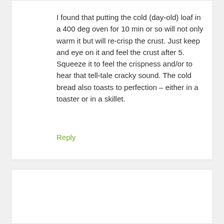I found that putting the cold (day-old) loaf in a 400 deg oven for 10 min or so will not only warm it but will re-crisp the crust. Just keep and eye on it and feel the crust after 5. Squeeze it to feel the crispness and/or to hear that tell-tale cracky sound. The cold bread also toasts to perfection – either in a toaster or in a skillet.
Reply
Alejandra ( alex) says
May 5, 2017 at 04:38